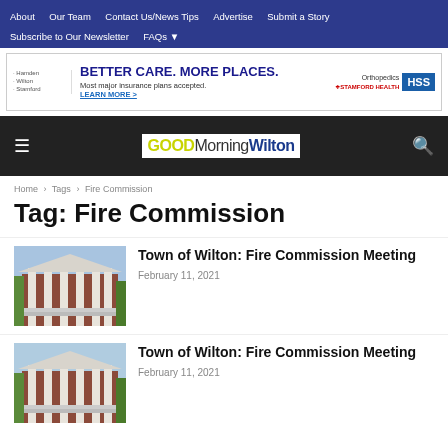About  Our Team  Contact Us/News Tips  Advertise  Submit a Story  Subscribe to Our Newsletter  FAQs
[Figure (screenshot): Advertisement banner: BETTER CARE. MORE PLACES. Most major insurance plans accepted. LEARN MORE > Orthopedics Stamford Health HSS]
[Figure (logo): Good Morning Wilton site logo with hamburger menu and search icon on dark background]
Home › Tags › Fire Commission
Tag: Fire Commission
[Figure (photo): Photo of Town of Wilton building with white columns]
Town of Wilton: Fire Commission Meeting
February 11, 2021
[Figure (photo): Photo of Town of Wilton building with white columns]
Town of Wilton: Fire Commission Meeting
February 11, 2021